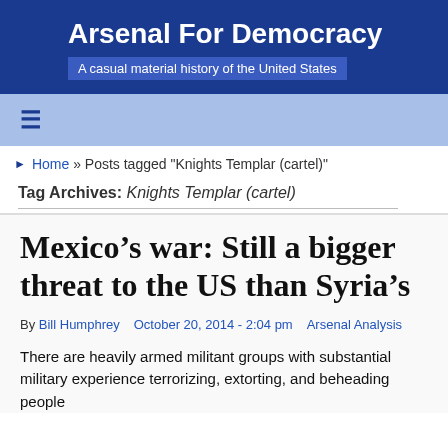Arsenal For Democracy
A casual material history of the United States
≡
Home » Posts tagged "Knights Templar (cartel)"
Tag Archives: Knights Templar (cartel)
Mexico's war: Still a bigger threat to the US than Syria's
By Bill Humphrey   October 20, 2014 - 2:04 pm   Arsenal Analysis
There are heavily armed militant groups with substantial military experience terrorizing, extorting, and beheading people